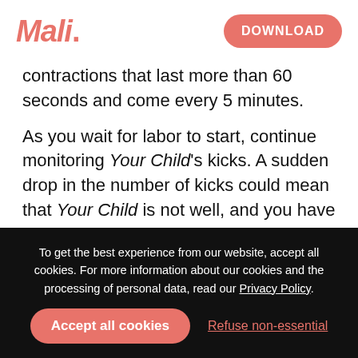Mali | DOWNLOAD
contractions that last more than 60 seconds and come every 5 minutes.
As you wait for labor to start, continue monitoring Your Child's kicks. A sudden drop in the number of kicks could mean that Your Child is not well, and you have to let your doctor know immediately.
What you can do now
To get the best experience from our website, accept all cookies. For more information about our cookies and the processing of personal data, read our Privacy Policy.
Accept all cookies  Refuse non-essential